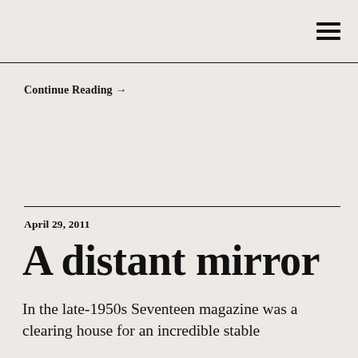☰
Continue Reading →
April 29, 2011
A distant mirror
In the late-1950s Seventeen magazine was a clearing house for an incredible stable